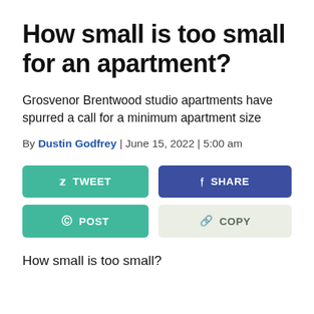How small is too small for an apartment?
Grosvenor Brentwood studio apartments have spurred a call for a minimum apartment size
By Dustin Godfrey | June 15, 2022 | 5:00 am
[Figure (other): Social sharing buttons: TWEET, SHARE, POST, COPY]
How small is too small?